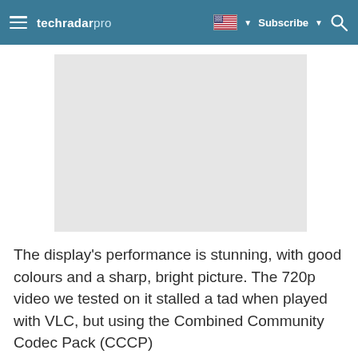techradar pro | Subscribe | [US flag] | Search
[Figure (photo): Light grey placeholder image rectangle]
The display's performance is stunning, with good colours and a sharp, bright picture. The 720p video we tested on it stalled a tad when played with VLC, but using the Combined Community Codec Pack (CCCP)